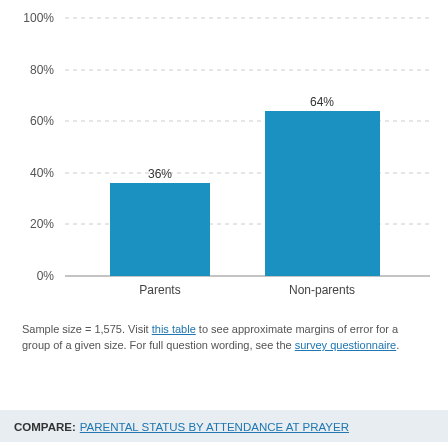[Figure (bar-chart): ]
Sample size = 1,575. Visit this table to see approximate margins of error for a group of a given size. For full question wording, see the survey questionnaire.
COMPARE: PARENTAL STATUS BY ATTENDANCE AT PRAYER